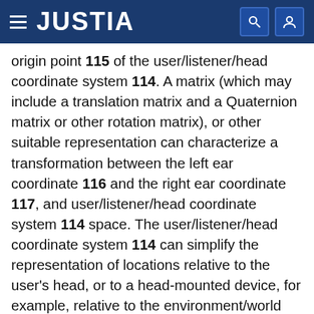JUSTIA
origin point 115 of the user/listener/head coordinate system 114. A matrix (which may include a translation matrix and a Quaternion matrix or other rotation matrix), or other suitable representation can characterize a transformation between the left ear coordinate 116 and the right ear coordinate 117, and user/listener/head coordinate system 114 space. The user/listener/head coordinate system 114 can simplify the representation of locations relative to the user's head, or to a head-mounted device, for example, relative to the environment/world coordinate system 108. Using Simultaneous Localization and Mapping (SLAM), visual odometry, or other techniques, a transformation between user coordinate system 114 and environment coordinate system 108 can be determined and updated in real-time.